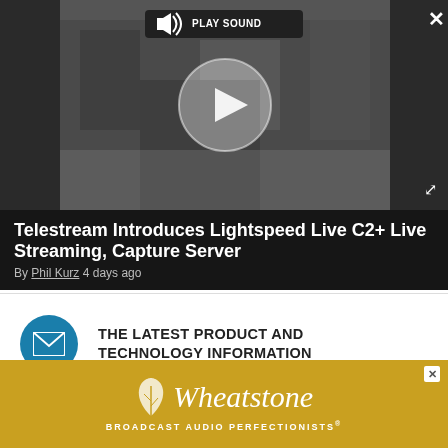[Figure (screenshot): Video player overlay showing a video of a trade show/exhibition, with a play button circle and a PLAY SOUND label. Dark background with close and expand buttons.]
Telestream Introduces Lightspeed Live C2+ Live Streaming, Capture Server
By Phil Kurz 4 days ago
THE LATEST PRODUCT AND TECHNOLOGY INFORMATION
Future US's leading brands bring the most important, up-to-date information right to your inbox.
[Figure (logo): Wheatstone Broadcast Audio Perfectionists advertisement banner with golden/yellow background, white feather/leaf icon and italic Wheatstone logo text.]